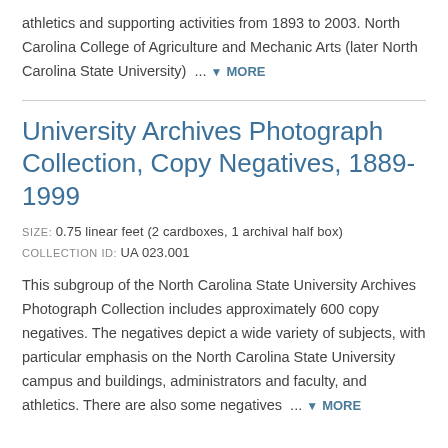athletics and supporting activities from 1893 to 2003. North Carolina College of Agriculture and Mechanic Arts (later North Carolina State University) ... ▼ MORE
University Archives Photograph Collection, Copy Negatives, 1889-1999
SIZE: 0.75 linear feet (2 cardboxes, 1 archival half box)
COLLECTION ID: UA 023.001
This subgroup of the North Carolina State University Archives Photograph Collection includes approximately 600 copy negatives. The negatives depict a wide variety of subjects, with particular emphasis on the North Carolina State University campus and buildings, administrators and faculty, and athletics. There are also some negatives ... ▼ MORE